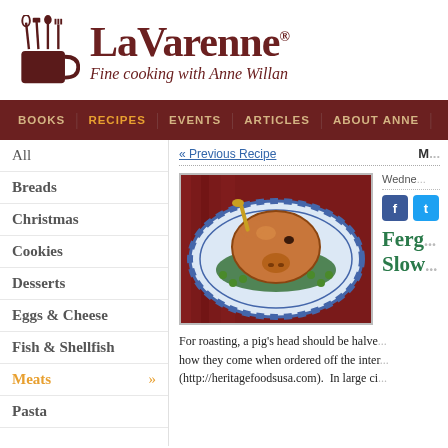[Figure (logo): La Varenne logo with kitchen utensils in a mug and text 'La Varenne Fine cooking with Anne Willan']
BOOKS | RECIPES | EVENTS | ARTICLES | ABOUT ANNE
All
Breads
Christmas
Cookies
Desserts
Eggs & Cheese
Fish & Shellfish
Meats »
Pasta
« Previous Recipe
M...
[Figure (photo): Photo of a roasted pig's head on a blue and white platter with garnishes]
Wednesday
Ferg... Slow...
For roasting, a pig's head should be halved... how they come when ordered off the internet (http://heritagefoodsusa.com). In large ci...